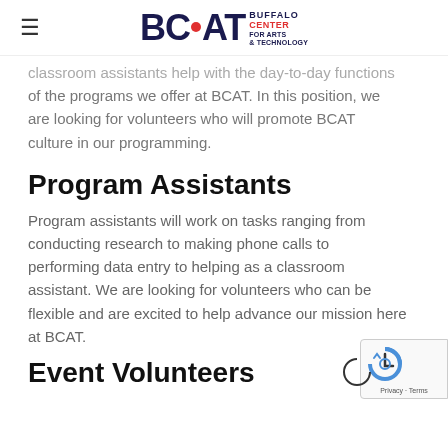BCAT Buffalo Center for Arts & Technology
classroom assistants help with the day-to-day functions of the programs we offer at BCAT. In this position, we are looking for volunteers who will promote BCAT culture in our programming.
Program Assistants
Program assistants will work on tasks ranging from conducting research to making phone calls to performing data entry to helping as a classroom assistant. We are looking for volunteers who can be flexible and are excited to help advance our mission here at BCAT.
Event Volunteers